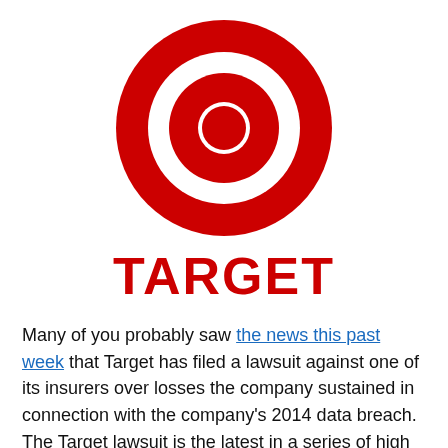[Figure (logo): Target Corporation bullseye logo — red concentric circles (outer ring red, white gap, inner red circle) on white background, with the word TARGET in bold red text below]
Many of you probably saw the news this past week that Target has filed a lawsuit against one of its insurers over losses the company sustained in connection with the company's 2014 data breach. The Target lawsuit is the latest in a series of high profile insurance battles in which companies are seeking to recoup losses resulting from cybersecurity incidents. However, as my friend, colleague, and Cyber insurance